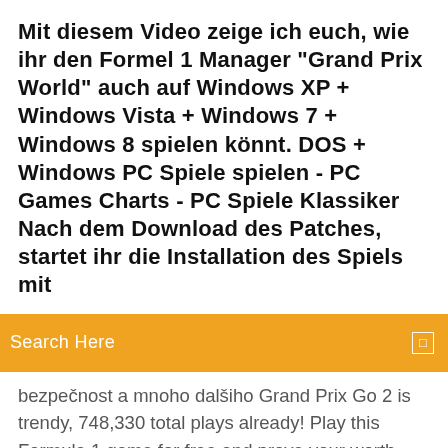Mit diesem Video zeige ich euch, wie ihr den Formel 1 Manager "Grand Prix World" auch auf Windows XP + Windows Vista + Windows 7 + Windows 8 spielen könnt. DOS + Windows PC Spiele spielen - PC Games Charts - PC Spiele Klassiker Nach dem Download des Patches, startet ihr die Installation des Spiels mit
[Figure (other): Orange search bar with text 'Search Here' and a small square icon on the right]
bezpečnost a mnoho dalšiho Grand Prix Go 2 is trendy, 748,330 total plays already! Play this Formula 1 game for free and prove your worth. Enjoy Grand Prix Go 2 now! Fireburst for PC, download for pc, full version game, full pc game Before downloading make sure that your PC meets minimum system requirements. Minimum System Requirements OS: Windows XP/Vista/7 Processor: Intel Pentium 4 @ 2.0 GHz / AMD... FIM Speedway Grand Prix 4 Game, for PC, download for pc, full version game, full pc game Before downloading make sure that your PC meets minimum system requirements. Minimum